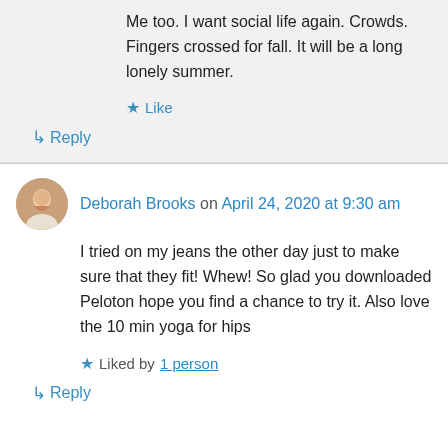Me too. I want social life again. Crowds. Fingers crossed for fall. It will be a long lonely summer.
★ Like
↳ Reply
Deborah Brooks on April 24, 2020 at 9:30 am
I tried on my jeans the other day just to make sure that they fit! Whew! So glad you downloaded Peloton hope you find a chance to try it. Also love the 10 min yoga for hips
★ Liked by 1 person
↳ Reply